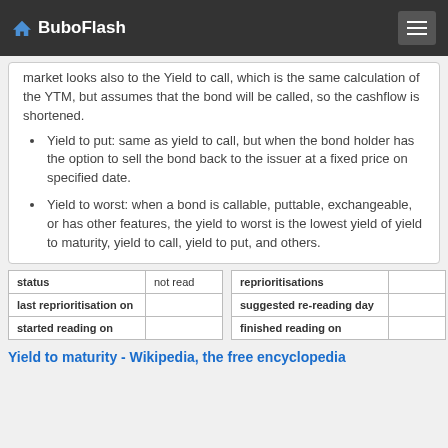BuboFlash
market looks also to the Yield to call, which is the same calculation of the YTM, but assumes that the bond will be called, so the cashflow is shortened.
Yield to put: same as yield to call, but when the bond holder has the option to sell the bond back to the issuer at a fixed price on specified date.
Yield to worst: when a bond is callable, puttable, exchangeable, or has other features, the yield to worst is the lowest yield of yield to maturity, yield to call, yield to put, and others.
| status | not read | reprioritisations |  |
| --- | --- | --- | --- |
| last reprioritisation on |  | suggested re-reading day |  |
| started reading on |  | finished reading on |  |
Yield to maturity - Wikipedia, the free encyclopedia